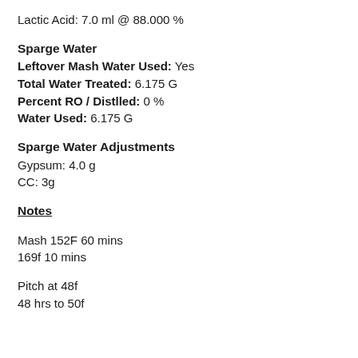Lactic Acid: 7.0 ml @ 88.000 %
Sparge Water
Leftover Mash Water Used: Yes
Total Water Treated: 6.175 G
Percent RO / Distlled: 0 %
Water Used: 6.175 G
Sparge Water Adjustments
Gypsum: 4.0 g
CC: 3g
Notes
Mash 152F 60 mins
169f 10 mins
Pitch at 48f
48 hrs to 50f